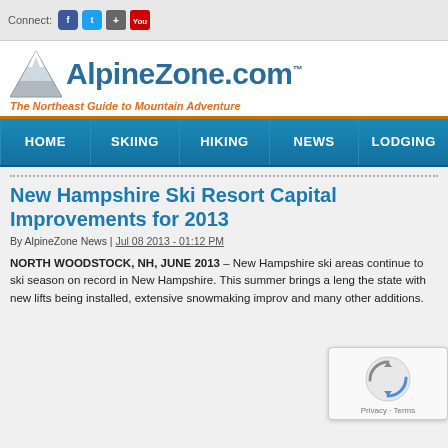Connect: [Facebook] [Twitter] [Google+] [YouTube]
[Figure (logo): AlpineZone.com logo with mountain graphic and tagline 'The Northeast Guide to Mountain Adventure']
HOME | SKIING | HIKING | NEWS | LODGING
New Hampshire Ski Resort Capital Improvements for 2013
By AlpineZone News | Jul 08 2013 - 01:12 PM
NORTH WOODSTOCK, NH, JUNE 2013 – New Hampshire ski areas continue to ski season on record in New Hampshire. This summer brings a leng the state with new lifts being installed, extensive snowmaking improv and many other additions.